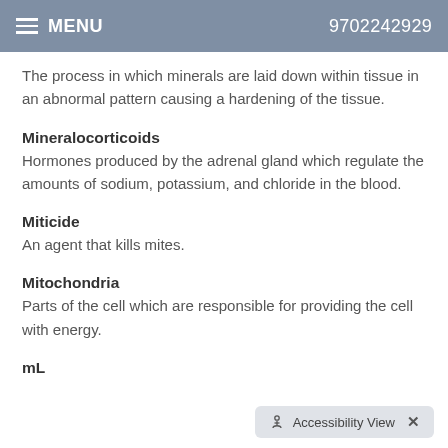MENU   9702242929
The process in which minerals are laid down within tissue in an abnormal pattern causing a hardening of the tissue.
Mineralocorticoids
Hormones produced by the adrenal gland which regulate the amounts of sodium, potassium, and chloride in the blood.
Miticide
An agent that kills mites.
Mitochondria
Parts of the cell which are responsible for providing the cell with energy.
mL